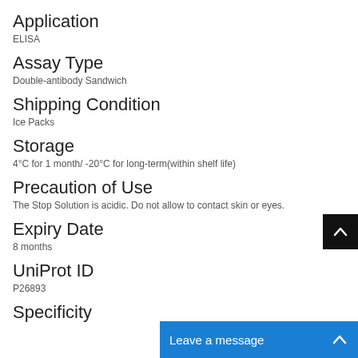Application
ELISA
Assay Type
Double-antibody Sandwich
Shipping Condition
Ice Packs
Storage
4°C for 1 month/ -20°C for long-term(within shelf life)
Precaution of Use
The Stop Solution is acidic. Do not allow to contact skin or eyes.
Expiry Date
8 months
UniProt ID
P26893
Specificity